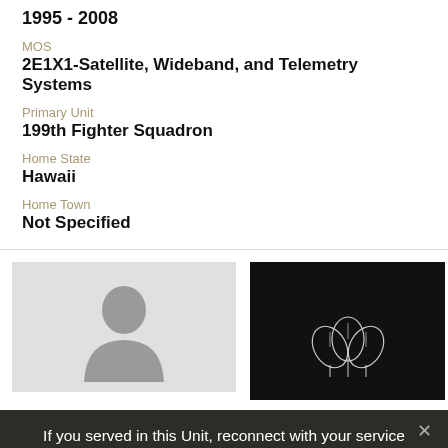1995 - 2008
MOS
2E1X1-Satellite, Wideband, and Telemetry Systems
Primary Unit
199th Fighter Squadron
Home State
Hawaii
Home Town
Not Specified
[Figure (photo): Silhouette placeholder avatar image on light gray background]
[Figure (photo): Military rank insignia (oak leaf cluster) on dark/black background]
If you served in this Unit, reconnect with your service friends today on Together We Served!
JOIN TWS
LOGIN